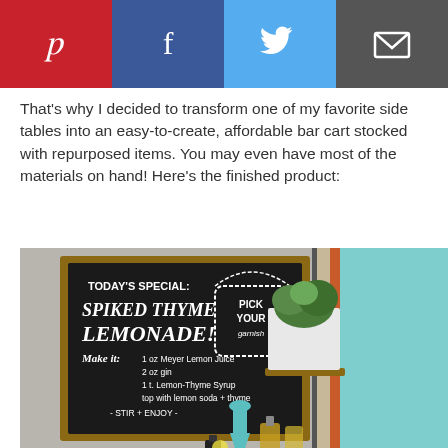[Figure (other): Social sharing bar with Pinterest (red), Facebook (dark blue), Twitter (light blue), and Email (dark grey) buttons]
That's why I decided to transform one of my favorite side tables into an easy-to-create, affordable bar cart stocked with repurposed items. You may even have most of the materials on hand! Here's the finished product:
[Figure (photo): Photo of a DIY bar cart setup against a wall. A chalkboard sign on the wall reads 'TODAY'S SPECIAL: SPIKED THYME LEMONADE! PICK YOUR garnish. Make it: 1 oz Meyer Lemon Juice, 2 oz gin, 1 t. Lemon-Thyme Syrup, top with lemon soda + thyme - STIR + ENJOY -'. A white planter with green herbs (thyme) sits on a small wooden shelf. Below are bottles and bar items on a cart, with teal/aqua and orange/beige curtains in the background.]